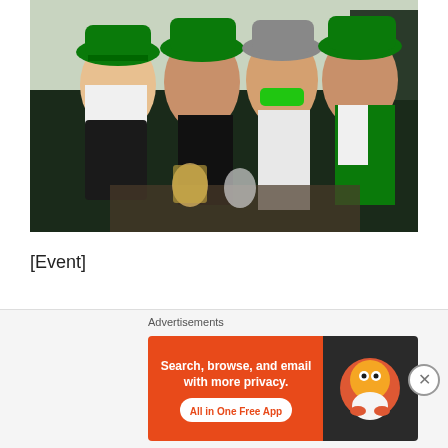[Figure (photo): Group photo of four young women wearing green St. Patrick's Day hats and Guinness-themed costumes, posing together at an event. They are dressed in black and green outfits with Guinness branding. One woman in the center is wearing large green sunglasses. There are drinks on the table in front of them.]
[Event]
My first St. Patrick's Day pre-party was at Jarrod & Rawlins in Damansara Heights on 8 March 2012. Went
[Figure (infographic): Advertisement banner for DuckDuckGo. Left side has orange background with white text: 'Search, browse, and email with more privacy. All in One Free App'. Right side has dark background with DuckDuckGo logo (duck icon).]